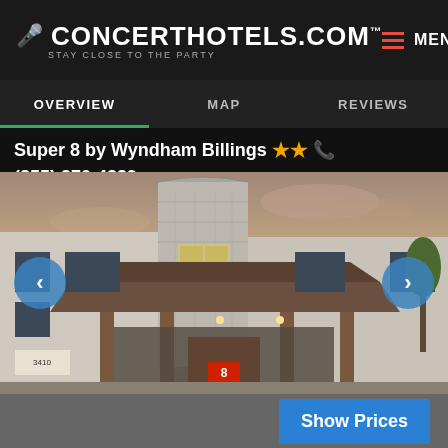CONCERTHOTELS.COM™ STAY CLOSE TO THE PARTY | MENU
OVERVIEW | MAP | REVIEWS
Super 8 by Wyndham Billings ★★ 📞 (855) 270-4339
[Figure (photo): Exterior photo of Super 8 by Wyndham Billings hotel showing stone tower, pitched roof entrance canopy with columns, and parking area at dusk]
Show Prices